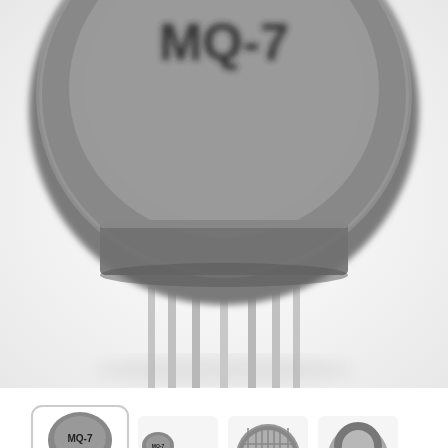[Figure (photo): Close-up photo of MQ-7 carbon monoxide gas sensor from above, showing the grey cylindrical body with metal pins/legs, against a white background. The sensor label 'MQ-7' is visible on the grey cap.]
[Figure (photo): Thumbnail gallery row showing four views of the MQ-7 sensor: (1) selected thumbnail showing full sensor with label 'MQ-7' and metal legs, (2) sensor next to a coin for scale comparison, (3) top-down view showing mesh screen, (4) bottom view showing horseshoe-shaped contact pads.]
MQ-7 carbon monoxide sensor - semiconductor
[Figure (other): Red rounded rectangle button with envelope icon and text 'NOTIFY ME WHEN AVAILABLE' in white capital letters.]